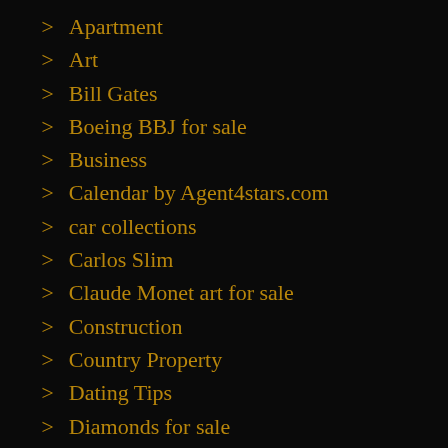Apartment
Art
Bill Gates
Boeing BBJ for sale
Business
Calendar by Agent4stars.com
car collections
Carlos Slim
Claude Monet art for sale
Construction
Country Property
Dating Tips
Diamonds for sale